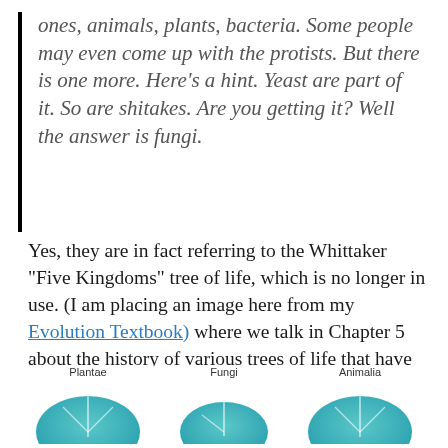ones, animals, plants, bacteria. Some people may even come up with the protists. But there is one more. Here's a hint. Yeast are part of it. So are shitakes. Are you getting it? Well the answer is fungi.
Yes, they are in fact referring to the Whittaker "Five Kingdoms" tree of life, which is no longer in use. (I am placing an image here from my Evolution Textbook) where we talk in Chapter 5 about the history of various trees of life that have been used. The figures from our book are available for free at the book site)
[Figure (illustration): Partial view of a diagram showing circular/dome shapes labeled Plantae, Fungi, and Animalia at the bottom of the page, with teal/blue colored dome shapes visible]